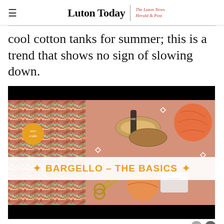Luton Today | The Luton News Herald & Post
cool cotton tanks for summer; this is a trend that shows no sign of slowing down.
[Figure (photo): Video thumbnail showing bargello needlework craft supplies on a pink background including thread, yarn, scissors, with a white banner overlay reading 'BARGELLO - THE BASICS' in orange text with decorative sun/arrow graphics]